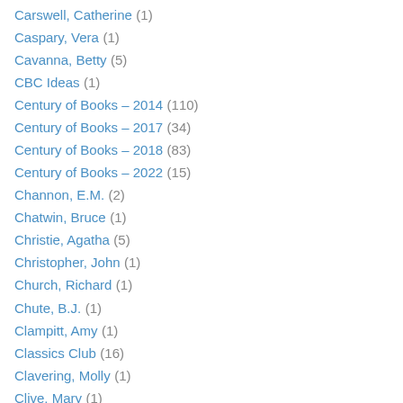Carswell, Catherine (1)
Caspary, Vera (1)
Cavanna, Betty (5)
CBC Ideas (1)
Century of Books – 2014 (110)
Century of Books – 2017 (34)
Century of Books – 2018 (83)
Century of Books – 2022 (15)
Channon, E.M. (2)
Chatwin, Bruce (1)
Christie, Agatha (5)
Christopher, John (1)
Church, Richard (1)
Chute, B.J. (1)
Clampitt, Amy (1)
Classics Club (16)
Clavering, Molly (1)
Clive, Mary (1)
Cobb, Irvin S. (1)
Cohen, Leonard (1)